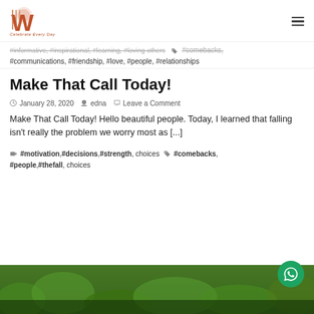Wardzup — logo and navigation
#informative, #inspirational, #learning, #loving others ... #comebacks, #communications, #friendship, #love, #people, #relationships
Make That Call Today!
January 28, 2020   edna   Leave a Comment
Make That Call Today! Hello beautiful people. Today, I learned that falling isn't really the problem we worry most as [...]
#motivation, #decisions, #strength, choices   #comebacks, #people, #thefall, choices
[Figure (photo): Green foliage / plants photograph at the bottom of the page]